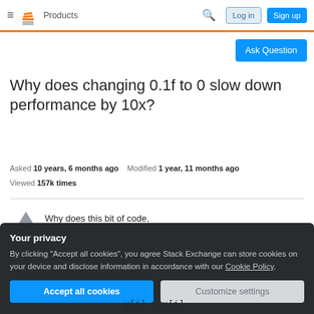Stack Overflow — Products | Log in | Sign up
Why does changing 0.1f to 0 slow down performance by 10x?
Asked 10 years, 6 months ago   Modified 1 year, 11 months ago   Viewed 157k times
Why does this bit of code,
Your privacy
By clicking "Accept all cookies", you agree Stack Exchange can store cookies on your device and disclose information in accordance with our Cookie Policy.
Accept all cookies   Customize settings
y[i] = x[i];